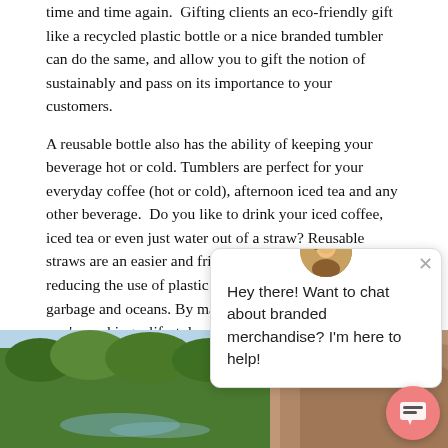time and time again.  Gifting clients an eco-friendly gift like a recycled plastic bottle or a nice branded tumbler can do the same, and allow you to gift the notion of sustainably and pass on its importance to your customers.
A reusable bottle also has the ability of keeping your beverage hot or cold. Tumblers are perfect for your everyday coffee (hot or cold), afternoon iced tea and any other beverage.  Do you like to drink your iced coffee, iced tea or even just water out of a straw? Reusable straws are an easier and friendly way to sip smarter by reducing the use of plastic and keeping it out of the garbage and oceans. By making a material change, you're making a lifestyle change. The difference m    rs
Another choice to make in       choices in logo apparel and       option is recycled cotton.       perfect usable tote. Not or       is made out of recycled co      may be your new favorite tee.
[Figure (photo): Landscape photo showing rocky terrain with red/orange rock formations on the right and green trees/vegetation on the left, with a sky visible at the top.]
[Figure (screenshot): Chat widget overlay with avatar, close button, and message: Hey there! Want to chat about branded merchandise? I'm here to help!]